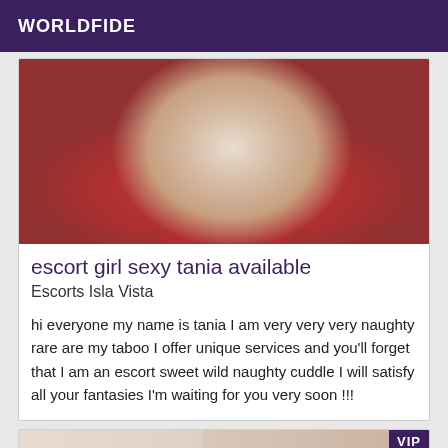WORLDFIDE
[Figure (photo): Photo of a person on a red bed, wearing grey shorts, kneeling position from behind]
escort girl sexy tania available
Escorts Isla Vista
hi everyone my name is tania I am very very very naughty rare are my taboo I offer unique services and you'll forget that I am an escort sweet wild naughty cuddle I will satisfy all your fantasies I'm waiting for you very soon !!!
[Figure (photo): Partial photo of a person's legs and a black high-heeled shoe, with VIP badge overlay]